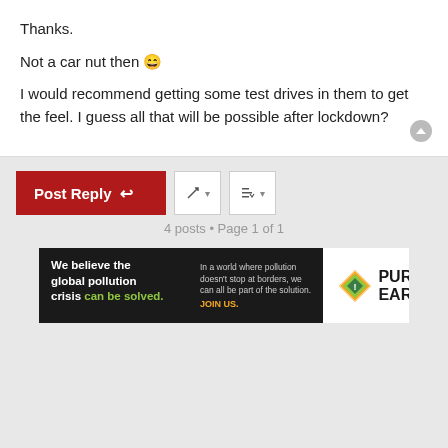Thanks.
Not a car nut then 😄
I would recommend getting some test drives in them to get the feel. I guess all that will be possible after lockdown?
4 posts • Page 1 of 1
[Figure (other): Pure Earth advertisement banner: 'We believe the global pollution crisis can be solved.' with JOIN US call to action and Pure Earth logo]